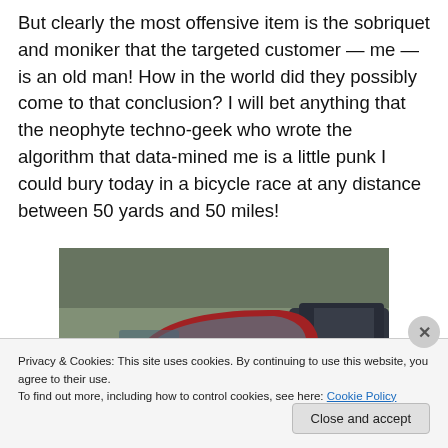But clearly the most offensive item is the sobriquet and moniker that the targeted customer — me — is an old man! How in the world did they possibly come to that conclusion? I will bet anything that the neophyte techno-geek who wrote the algorithm that data-mined me is a little punk I could bury today in a bicycle race at any distance between 50 yards and 50 miles!
[Figure (photo): Photo of a red car (coupe) parked in a parking lot next to a dark-colored car, with trees in the background on a grey/rainy day.]
Privacy & Cookies: This site uses cookies. By continuing to use this website, you agree to their use.
To find out more, including how to control cookies, see here: Cookie Policy